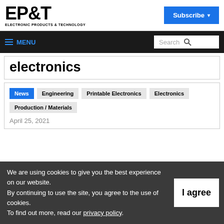EP&T ELECTRONIC PRODUCTS & TECHNOLOGY
electronics
News
Engineering
Printable Electronics
Electronics
Production / Materials
April 25, 2021
We are using cookies to give you the best experience on our website. By continuing to use the site, you agree to the use of cookies. To find out more, read our privacy policy.